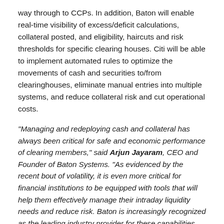way through to CCPs. In addition, Baton will enable real-time visibility of excess/deficit calculations, collateral posted, and eligibility, haircuts and risk thresholds for specific clearing houses. Citi will be able to implement automated rules to optimize the movements of cash and securities to/from clearinghouses, eliminate manual entries into multiple systems, and reduce collateral risk and cut operational costs.
“Managing and redeploying cash and collateral has always been critical for safe and economic performance of clearing members,” said Arjun Jayaram, CEO and Founder of Baton Systems. “As evidenced by the recent bout of volatility, it is even more critical for financial institutions to be equipped with tools that will help them effectively manage their intraday liquidity needs and reduce risk. Baton is increasingly recognized as the leading industry provider for these capabilities and we look forward to playing a role in improving Citi’s treasury workflows.”
“Our integration with Baton will help drive greater efficiency across our treasury and cash flow management. After the above threshold